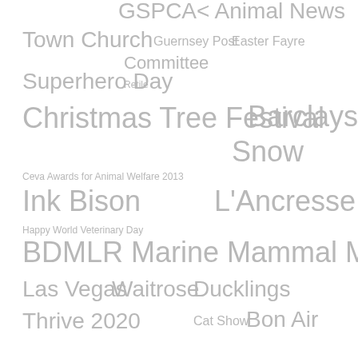[Figure (infographic): Tag cloud of words and phrases related to GSPCA (Guernsey Society for the Prevention of Cruelty to Animals) activities and events, displayed in varying font sizes and shades of gray on a white background. Tags include: GSPCA< Animal News, Town Church, Guernsey Post, Easter Fayre, Committee, Superhero Day, Retile, Christmas Tree Festival, Barclays, Snow, Ceva Awards for Animal Welfare 2013, Ink Bison, L'Ancresse, Happy World Veterinary Day, BDMLR Marine Mammal Medic, Las Vegas, Waitrose, Ducklings, Thrive 2020, Cat Show, Bon Air, Competition, Guernsey Water, Guernsey Fire and Rescue Service, Visit, GSPCA Committee, Muddy fields, Green Turtle, Long Eared Owl, Aladdin's Cave, Jessie]